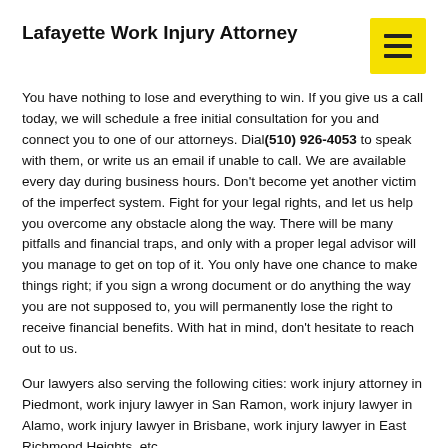Lafayette Work Injury Attorney
You have nothing to lose and everything to win. If you give us a call today, we will schedule a free initial consultation for you and connect you to one of our attorneys. Dial (510) 926-4053 to speak with them, or write us an email if unable to call. We are available every day during business hours. Don't become yet another victim of the imperfect system. Fight for your legal rights, and let us help you overcome any obstacle along the way. There will be many pitfalls and financial traps, and only with a proper legal advisor will you manage to get on top of it. You only have one chance to make things right; if you sign a wrong document or do anything the way you are not supposed to, you will permanently lose the right to receive financial benefits. With hat in mind, don't hesitate to reach out to us.
Our lawyers also serving the following cities: work injury attorney in Piedmont, work injury lawyer in San Ramon, work injury lawyer in Alamo, work injury lawyer in Brisbane, work injury lawyer in East Richmond Heights, etc.